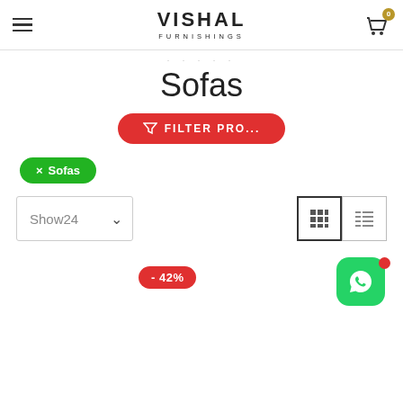Vishal Furnishings — navigation header with hamburger menu and cart (0 items)
Sofas
[Figure (screenshot): Red pill-shaped button labelled FILTER PRO... with funnel icon]
[Figure (screenshot): Green pill tag with × Sofas active filter]
[Figure (screenshot): Show24 dropdown selector and grid/list view toggle buttons]
[Figure (screenshot): Red -42% discount badge]
[Figure (screenshot): WhatsApp green icon with red notification dot]